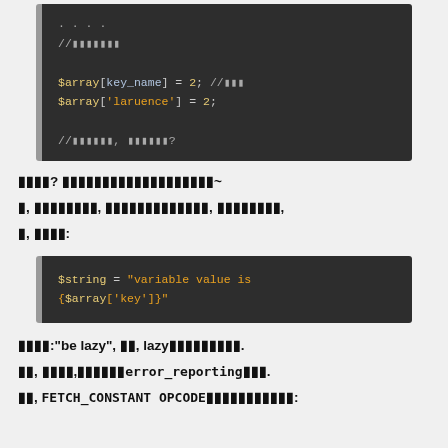[Figure (screenshot): Code block showing PHP array key access with $array[key_name] = 2; and $array['laruence'] = 2; with comments in Chinese]
||||? |||||||||||||||||||~
|, ||||||||, |||||||||||||, ||||||||,
|, ||||:
[Figure (screenshot): Code block showing PHP string interpolation: $string = "variable value is {$array['key']}"]
||||:"be lazy", ||, lazy|||||||||.
||, ||||,||||||error_reporting|||.
||, FETCH_CONSTANT OPCODE|||||||||||: